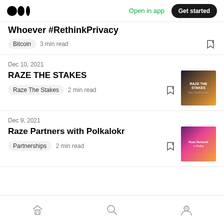Medium logo | Open in app | Get started
Whoever #RethinkPrivacy
Bitcoin · 3 min read
Dec 10, 2021
RAZE THE STAKES
Raze The Stakes · 2 min read
Dec 9, 2021
Raze Partners with Polkalokr
Partnerships · 2 min read
Home | Search | Profile